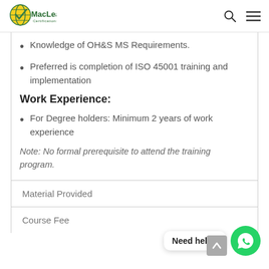[Figure (logo): MacLead Certifications logo with yellow and green globe icon]
Knowledge of OH&S MS Requirements.
Preferred is completion of ISO 45001 training and implementation
Work Experience:
For Degree holders: Minimum 2 years of work experience
Note: No formal prerequisite to attend the training program.
| Material Provided |
| Course Fee |